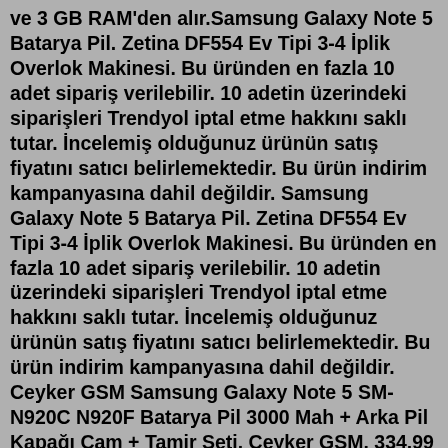ve 3 GB RAM'den alır.Samsung Galaxy Note 5 Batarya Pil. Zetina DF554 Ev Tipi 3-4 İplik Overlok Makinesi. Bu üründen en fazla 10 adet sipariş verilebilir. 10 adetin üzerindeki siparişleri Trendyol iptal etme hakkını saklı tutar. İncelemiş olduğunuz ürünün satış fiyatını satıcı belirlemektedir. Bu ürün indirim kampanyasına dahil değildir. Samsung Galaxy Note 5 Batarya Pil. Zetina DF554 Ev Tipi 3-4 İplik Overlok Makinesi. Bu üründen en fazla 10 adet sipariş verilebilir. 10 adetin üzerindeki siparişleri Trendyol iptal etme hakkını saklı tutar. İncelemiş olduğunuz ürünün satış fiyatını satıcı belirlemektedir. Bu ürün indirim kampanyasına dahil değildir. Ceyker GSM Samsung Galaxy Note 5 SM-N920C N920F Batarya Pil 3000 Mah + Arka Pil Kapağı Cam + Tamir Seti. Ceyker GSM. 334,99 TL. Satıcı: ceykerteknoloji Kampanyaları Gör 1. 75 TL üzeri kargo bedava. Henüz değerlendirilmemiş. İlk sen değerlendir. Beyaz 334,99 TL. Gold 334,99 TL. Samsung Galaxy Note 5 Mucize Batarya Deji. 294,80 TL 334,44 TL Samsung Pil Türkiye Satışı 534,